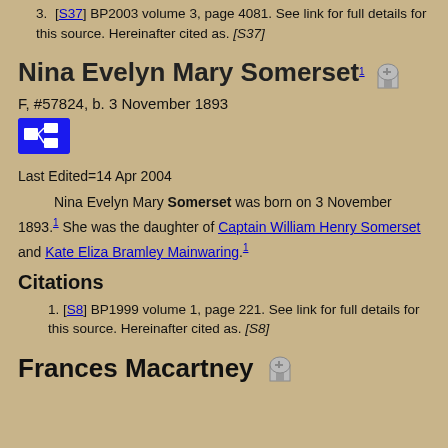3. [S37] BP2003 volume 3, page 4081. See link for full details for this source. Hereinafter cited as. [S37]
Nina Evelyn Mary Somerset
F, #57824, b. 3 November 1893
Last Edited=14 Apr 2004
Nina Evelyn Mary Somerset was born on 3 November 1893. She was the daughter of Captain William Henry Somerset and Kate Eliza Bramley Mainwaring.
Citations
1. [S8] BP1999 volume 1, page 221. See link for full details for this source. Hereinafter cited as. [S8]
Frances Macartney